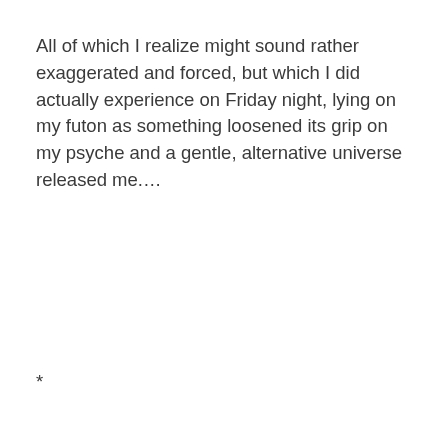All of which I realize might sound rather exaggerated and forced, but which I did actually experience on Friday night, lying on my futon as something loosened its grip on my psyche and a gentle, alternative universe released me.…
*